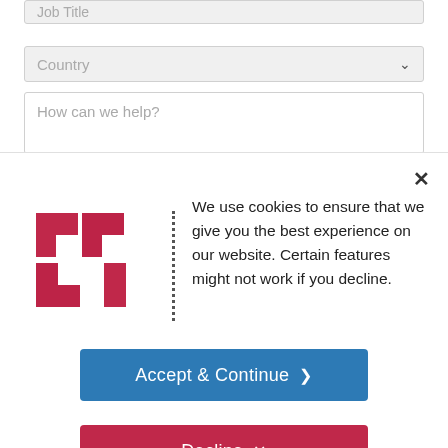[Figure (screenshot): Form fields: Job Title text input (partially visible at top), Country dropdown selector, and How can we help? textarea]
[Figure (logo): Red/crimson geometric logo made of interlocking angular ribbon shapes forming a square pattern]
We use cookies to ensure that we give you the best experience on our website. Certain features might not work if you decline.
Accept & Continue >
Decline ×